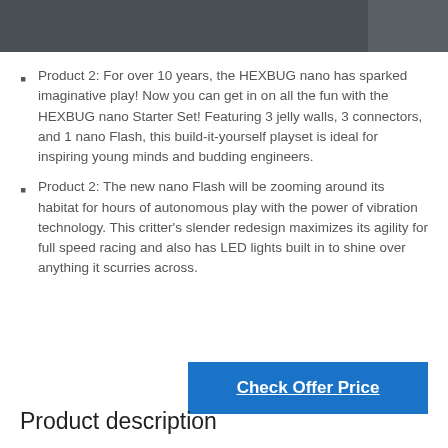Product 2: For over 10 years, the HEXBUG nano has sparked imaginative play! Now you can get in on all the fun with the HEXBUG nano Starter Set! Featuring 3 jelly walls, 3 connectors, and 1 nano Flash, this build-it-yourself playset is ideal for inspiring young minds and budding engineers.
Product 2: The new nano Flash will be zooming around its habitat for hours of autonomous play with the power of vibration technology. This critter's slender redesign maximizes its agility for full speed racing and also has LED lights built in to shine over anything it scurries across.
Check Offer Price
Product description
HEXBUG 433-7121 Nano Flash Orbit Set
Ready, set, build! The HEXBUG nano Orbit has everything you need to customize your very own nano habitat. Get creative and have fun with